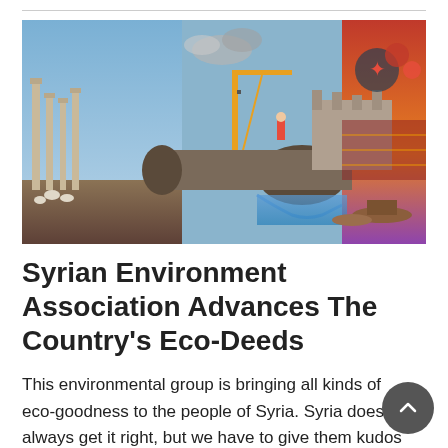[Figure (photo): Composite collage photo showing ancient ruins with columns (Palmyra-like), a large pipeline under construction with cranes and workers, water flowing from a pipe, boats, and colorful cultural imagery on the right side.]
Syrian Environment Association Advances The Country's Eco-Deeds
This environmental group is bringing all kinds of eco-goodness to the people of Syria. Syria doesn't always get it right, but we have to give them kudos for trying. On one hand, certain citizens are making an effort to spread